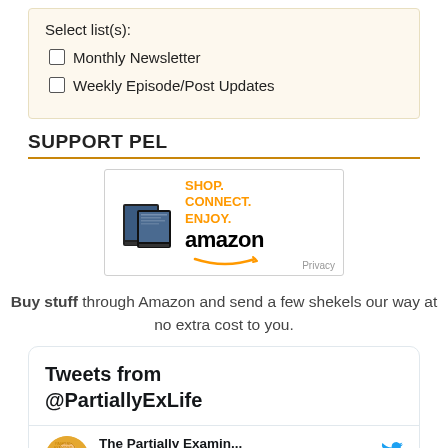Select list(s):
Monthly Newsletter
Weekly Episode/Post Updates
SUPPORT PEL
[Figure (other): Amazon affiliate banner showing Kindle devices with text SHOP. CONNECT. ENJOY. and the Amazon logo with smile, and a Privacy link]
Buy stuff through Amazon and send a few shekels our way at no extra cost to you.
Tweets from @PartiallyExLife
The Partially Examin... @PartiallyExLife · 9h
Part 2 of our discussion of Cynicism